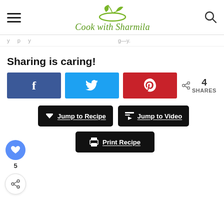Cook with Sharmila
y p y
Sharing is caring!
[Figure (screenshot): Social sharing buttons: Facebook (f), Twitter (bird), Pinterest (p), with share count of 4 SHARES]
[Figure (screenshot): Action buttons: Jump to Recipe, Jump to Video, Print Recipe; floating sidebar with heart (5 likes) and share icon]